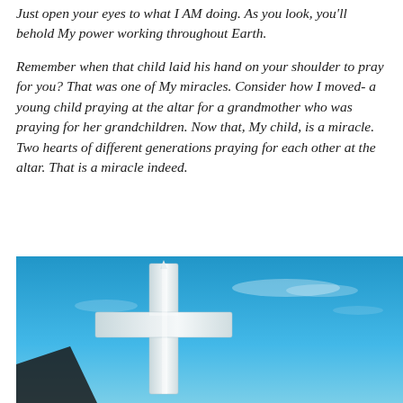Just open your eyes to what I AM doing. As you look, you'll behold My power working throughout Earth.
Remember when that child laid his hand on your shoulder to pray for you? That was one of My miracles. Consider how I moved- a young child praying at the altar for a grandmother who was praying for her grandchildren. Now that, My child, is a miracle. Two hearts of different generations praying for each other at the altar. That is a miracle indeed.
[Figure (photo): A white Christian cross photographed against a bright blue sky with light clouds. The cross appears to be a large outdoor monument with a pointed top and horizontal beam, photographed from a low angle. A dark silhouette is visible in the lower left corner.]